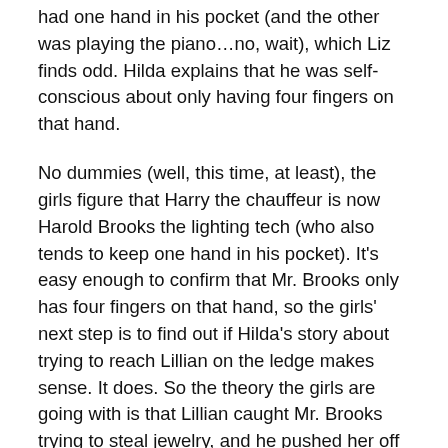had one hand in his pocket (and the other was playing the piano…no, wait), which Liz finds odd. Hilda explains that he was self-conscious about only having four fingers on that hand.
No dummies (well, this time, at least), the girls figure that Harry the chauffeur is now Harold Brooks the lighting tech (who also tends to keep one hand in his pocket). It's easy enough to confirm that Mr. Brooks only has four fingers on that hand, so the girls' next step is to find out if Hilda's story about trying to reach Lillian on the ledge makes sense. It does. So the theory the girls are going with is that Lillian caught Mr. Brooks trying to steal jewelry, and he pushed her off the balcony to keep her quiet. Becka tells the girls that Mr. Brooks retired from movies years ago, but he begged to work on this one when he heard about it. The girls think he wanted to make sure nothing about his